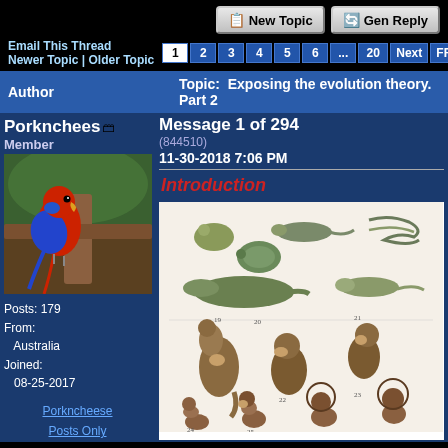New Topic | Gen Reply
Email This Thread
Newer Topic | Older Topic  1 2 3 4 5 6 ... 20 Next FF
| Author | Topic: Exposing the evolution theory. Part 2 |
| --- | --- |
| Porknchees
Member
(844510)
11-30-2018 7:06 PM
Posts: 179
From: Australia
Joined: 08-25-2017
Porkncheese Posts Only | Introduction
[illustration of animals and humans in evolutionary chart] |
[Figure (illustration): Vintage natural history illustration showing reptiles, amphibians, mammals, monkeys, and primitive humans arranged in an evolutionary progression chart.]
[Figure (photo): Photo of a red and blue parrot (crimson rosella) perched outdoors.]